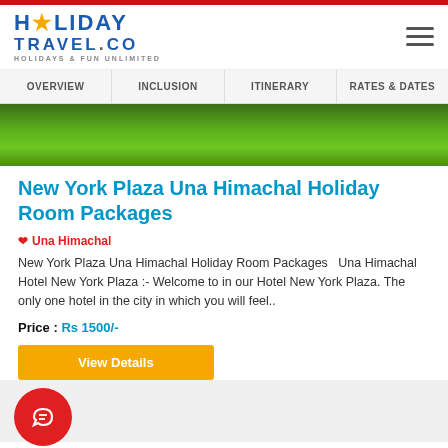Holiday Travel Co — HOLIDAYS & FUN UNLIMITED
OVERVIEW | INCLUSION | ITINERARY | RATES & DATES
[Figure (photo): Green landscape/lawn photo banner]
New York Plaza Una Himachal Holiday Room Packages
❤ Una Himachal
New York Plaza Una Himachal Holiday Room Packages   Una Himachal Hotel New York Plaza :- Welcome to in our Hotel New York Plaza. The only one hotel in the city in which you will feel..
Price : Rs 1500/-
View Details